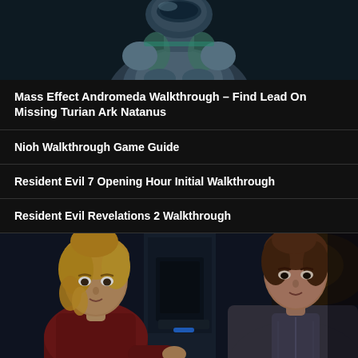[Figure (screenshot): Top portion showing a Mass Effect Andromeda armored alien character (Turian) in close-up, silver/teal armor, dark background]
Mass Effect Andromeda Walkthrough – Find Lead On Missing Turian Ark Natanus
Nioh Walkthrough Game Guide
Resident Evil 7 Opening Hour Initial Walkthrough
Resident Evil Revelations 2 Walkthrough
[Figure (screenshot): Bottom screenshot from Mass Effect Andromeda showing two female characters in a sci-fi interior setting. Left character has blonde hair and red outfit; right character has brown hair and grey/white suit.]